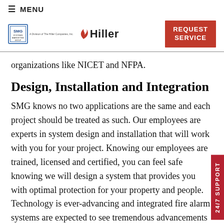≡ MENU
[Figure (logo): SMG Systems Marketing Group logo and Hiller fire protection logo side by side, with a red REQUEST SERVICE button]
organizations like NICET and NFPA.
Design, Installation and Integration
SMG knows no two applications are the same and each project should be treated as such. Our employees are experts in system design and installation that will work with you for your project. Knowing our employees are trained, licensed and certified, you can feel safe knowing we will design a system that provides you with optimal protection for your property and people. Technology is ever-advancing and integrated fire alarm systems are expected to see tremendous advancements in the coming